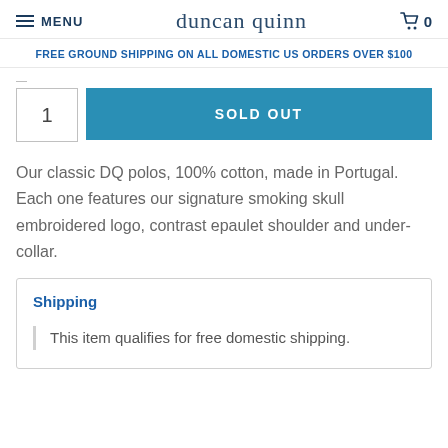MENU | duncan quinn | 0
FREE GROUND SHIPPING ON ALL DOMESTIC US ORDERS OVER $100
1  SOLD OUT
Our classic DQ polos, 100% cotton, made in Portugal. Each one features our signature smoking skull embroidered logo, contrast epaulet shoulder and under-collar.
Shipping
This item qualifies for free domestic shipping.